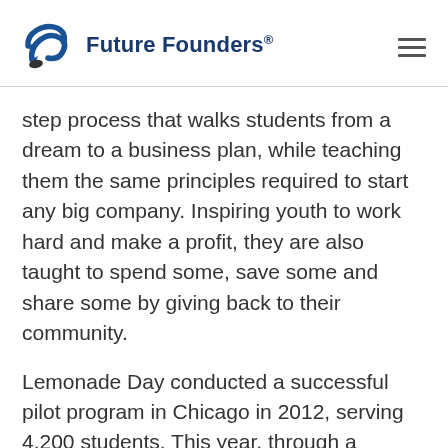Future Founders®
step process that walks students from a dream to a business plan, while teaching them the same principles required to start any big company. Inspiring youth to work hard and make a profit, they are also taught to spend some, save some and share some by giving back to their community.
Lemonade Day conducted a successful pilot program in Chicago in 2012, serving 4,200 students. This year, through a partnership